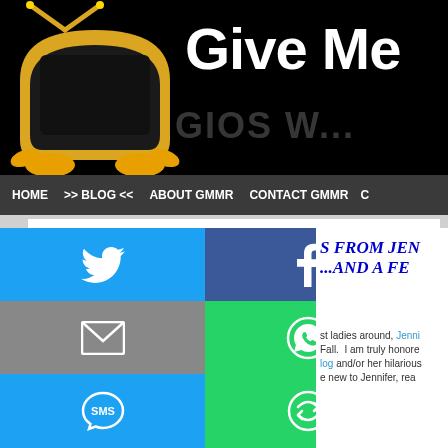[Figure (screenshot): Website header banner for 'Give Me My Remote' with a cartoon TV mascot logo on black background]
HOME  >> BLOG <<  ABOUT GMMR  CONTACT GMMR  C
Give Me My Remote >   TV News > Letters to My TV Set....
Letters to My TV Set....
July 14, 2008 by Kath Skerry
[Figure (photo): Photo of a woman with dark hair]
[Figure (screenshot): Social media sharing buttons overlay: Twitter (blue), Facebook (dark blue), Email (grey), WhatsApp (green), SMS (blue), Share (green)]
S FROM JEN ...AND A FE
st ladies around, Jenni Fall.  I am truly honore log and/or her hilarious e new to Jennifer, rea